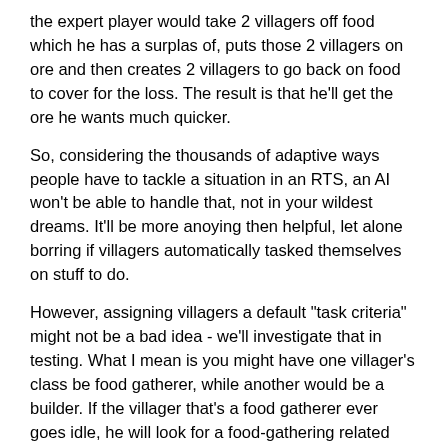the expert player would take 2 villagers off food which he has a surplas of, puts those 2 villagers on ore and then creates 2 villagers to go back on food to cover for the loss. The result is that he'll get the ore he wants much quicker.
So, considering the thousands of adaptive ways people have to tackle a situation in an RTS, an AI won't be able to handle that, not in your wildest dreams. It'll be more anoying then helpful, let alone borring if villagers automatically tasked themselves on stuff to do.
However, assigning villagers a default "task criteria" might not be a bad idea - we'll investigate that in testing. What I mean is you might have one villager's class be food gatherer, while another would be a builder. If the villager that's a food gatherer ever goes idle, he will look for a food-gathering related task to do. We'll see if this'll be a benefit or hinderance durring testing.
2) We're aiming for the average game length in 0ad to be 30 minutes to 1 hour. However, since we'll be having many different game types (12 total), there will be game types that can addapt to the time you have availible so you can end up having fun no matter what. Don't want to spend 30 minutes building an empire?